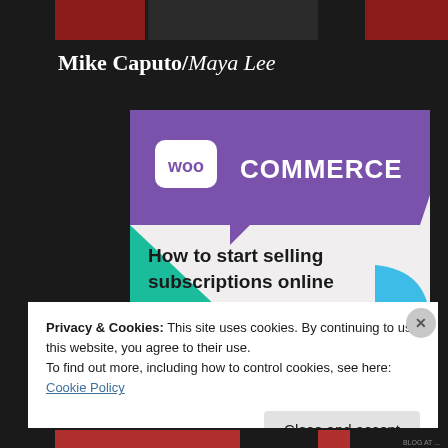Mike Caputo/Maya Lee
[Figure (screenshot): WooCommerce promotional image showing purple speech-bubble logo and text 'How to start selling subscriptions online' on a light background with green and blue geometric shapes]
Privacy & Cookies: This site uses cookies. By continuing to use this website, you agree to their use.
To find out more, including how to control cookies, see here:
Cookie Policy
Close and accept